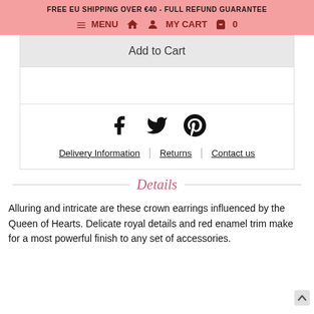FREE EU SHIPPING OVER €40 - FULL REFUND GUARANTEE
≡ MENU  🏠  👤  MY CART  🛍  0
Add to Cart
[Figure (other): Social media share icons: Facebook (f), Twitter (bird), Pinterest (P)]
Delivery Information | Returns | Contact us
Details
Alluring and intricate are these crown earrings influenced by the Queen of Hearts. Delicate royal details and red enamel trim make for a most powerful finish to any set of accessories.